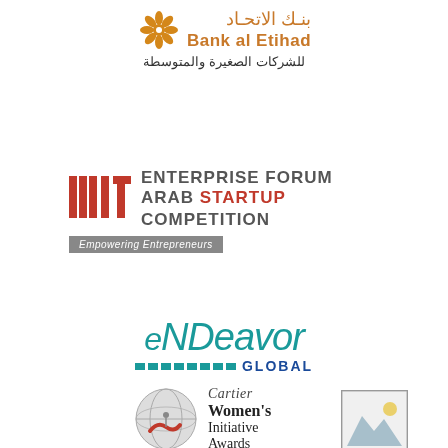[Figure (logo): Bank al Etihad logo with Arabic text and English name in orange, with Arabic subtitle for SME]
[Figure (logo): MIT Enterprise Forum Arab Startup Competition logo with red MIT bars and tagline Empowering Entrepreneurs]
[Figure (logo): Endeavor Global logo in teal italic text with teal dashes]
[Figure (logo): Cartier Women's Initiative Awards logo with globe graphic and italic Cartier text]